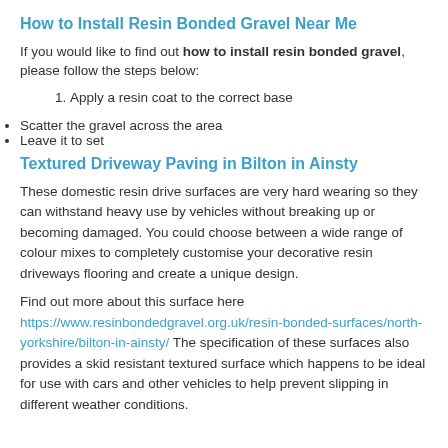How to Install Resin Bonded Gravel Near Me
If you would like to find out how to install resin bonded gravel, please follow the steps below:
1. Apply a resin coat to the correct base
2. Scatter the gravel across the area
3. Leave it to set
Textured Driveway Paving in Bilton in Ainsty
These domestic resin drive surfaces are very hard wearing so they can withstand heavy use by vehicles without breaking up or becoming damaged. You could choose between a wide range of colour mixes to completely customise your decorative resin driveways flooring and create a unique design.
Find out more about this surface here https://www.resinbondedgravel.org.uk/resin-bonded-surfaces/north-yorkshire/bilton-in-ainsty/ The specification of these surfaces also provides a skid resistant textured surface which happens to be ideal for use with cars and other vehicles to help prevent slipping in different weather conditions.